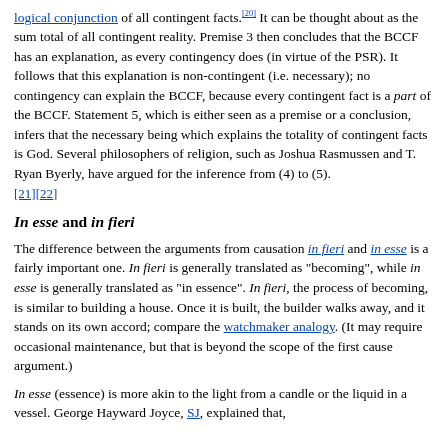logical conjunction of all contingent facts.[20] It can be thought about as the sum total of all contingent reality. Premise 3 then concludes that the BCCF has an explanation, as every contingency does (in virtue of the PSR). It follows that this explanation is non-contingent (i.e. necessary); no contingency can explain the BCCF, because every contingent fact is a part of the BCCF. Statement 5, which is either seen as a premise or a conclusion, infers that the necessary being which explains the totality of contingent facts is God. Several philosophers of religion, such as Joshua Rasmussen and T. Ryan Byerly, have argued for the inference from (4) to (5). [21][22]
In esse and in fieri
The difference between the arguments from causation in fieri and in esse is a fairly important one. In fieri is generally translated as "becoming", while in esse is generally translated as "in essence". In fieri, the process of becoming, is similar to building a house. Once it is built, the builder walks away, and it stands on its own accord; compare the watchmaker analogy. (It may require occasional maintenance, but that is beyond the scope of the first cause argument.)
In esse (essence) is more akin to the light from a candle or the liquid in a vessel. George Hayward Joyce, SJ, explained that,